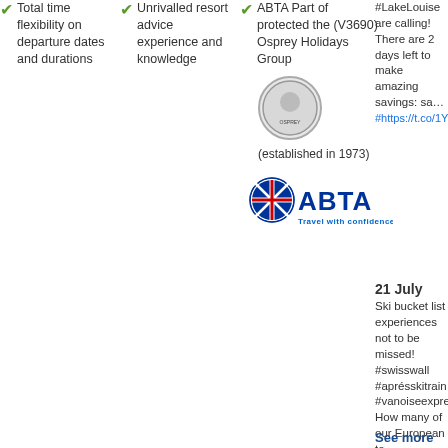Total time flexibility on departure dates and durations
Unrivalled resort advice experience and knowledge
ABTA Part of protected the (V3690) Osprey Holidays Group (established in 1973)
[Figure (logo): ABTA Travel with confidence logo with Union Jack circle and ABTA text in blue]
#LakeLouise are calling! There are 2 days left to make amazing savings: sa… https://t.co/1Y6M
21 July
Ski bucket list experiences not to be missed! #swisswall #aprésskitrain #vanoiseexpress How many of our European to… https://t.co/XbuH
See more